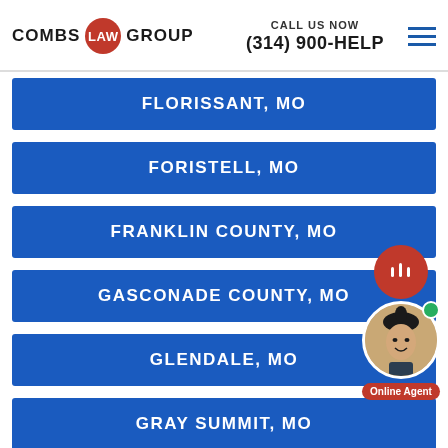COMBS LAW GROUP | CALL US NOW (314) 900-HELP
FLORISSANT, MO
FORISTELL, MO
FRANKLIN COUNTY, MO
GASCONADE COUNTY, MO
GLENDALE, MO
GRAY SUMMIT, MO
HARRISBURG, MO
HARVESTER, MO